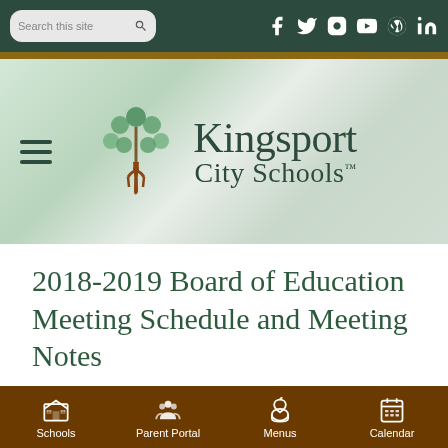[Figure (screenshot): Kingsport City Schools website header with search bar, social media icons (Facebook, Twitter, Instagram, YouTube, WordPress, LinkedIn), tree logo, hamburger menu, and site name]
2018-2019 Board of Education Meeting Schedule and Meeting Notes
The Kingsport City Schools Board of
[Figure (infographic): Bottom navigation bar with Schools, Parent Portal, Menus, and Calendar icons]